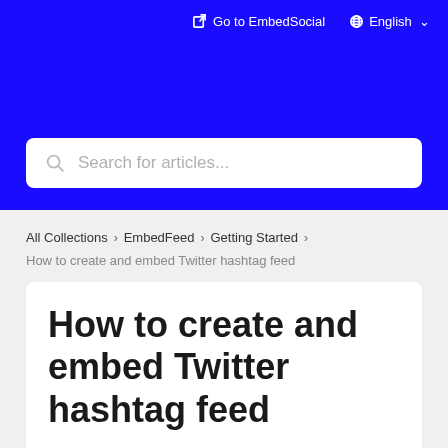Go to EmbedSocial   English
Search for articles...
All Collections > EmbedFeed > Getting Started
How to create and embed Twitter hashtag feed
How to create and embed Twitter hashtag feed